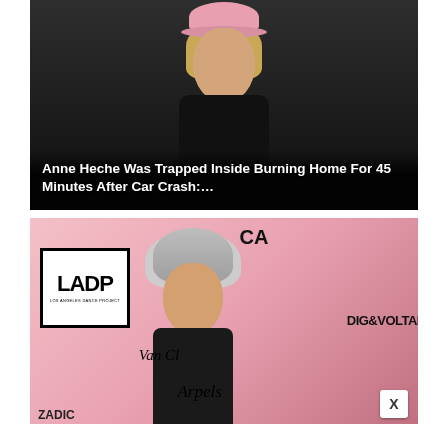[Figure (photo): Photo of Anne Heche wearing a pink hat and dark outfit against a dark background, with overlay headline text]
Anne Heche Was Trapped Inside Burning Home For 45 Minutes After Car Crash:…
[Figure (photo): Photo of Jane Fonda with silver hair at a Los Angeles Dance Project event, with LADP logo, Van Cleef & Arpels, DIG & VOLTAIRE branding visible in background. An X close button appears at bottom right.]